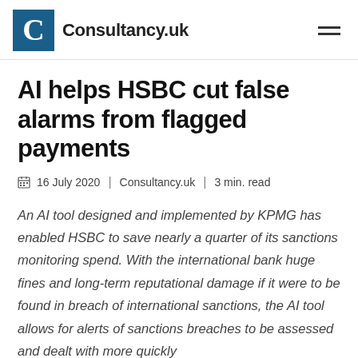Consultancy.uk
AI helps HSBC cut false alarms from flagged payments
16 July 2020 | Consultancy.uk | 3 min. read
An AI tool designed and implemented by KPMG has enabled HSBC to save nearly a quarter of its sanctions monitoring spend. With the international bank huge fines and long-term reputational damage if it were to be found in breach of international sanctions, the AI tool allows for alerts of sanctions breaches to be assessed and dealt with more quickly